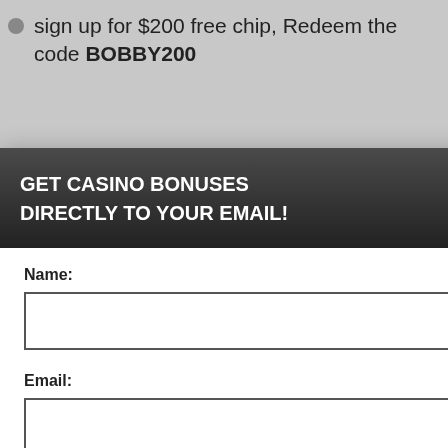sign up for $200 free chip, Redeem the code BOBBY200
and Redeem the t 250% welcome bonus
from USA, Canada, many more
[Figure (screenshot): Email subscription modal popup with dark header reading GET CASINO BONUSES DIRECTLY TO YOUR EMAIL!, close X button, Name field, Email field, Submit button, and privacy policy footer text. Behind modal is a casino bonus webpage with blue underlined heading ONUS NO DEPOSIT and a black cookie consent overlay.]
ONUS NO DEPOSIT
perience, we use Using this site, kie & privacy policy.